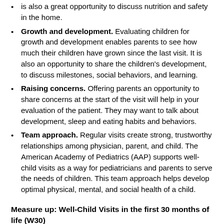is also a great opportunity to discuss nutrition and safety in the home.
Growth and development. Evaluating children for growth and development enables parents to see how much their children have grown since the last visit. It is also an opportunity to share the children's development, to discuss milestones, social behaviors, and learning.
Raising concerns. Offering parents an opportunity to share concerns at the start of the visit will help in your evaluation of the patient. They may want to talk about development, sleep and eating habits and behaviors.
Team approach. Regular visits create strong, trustworthy relationships among physician, parent, and child. The American Academy of Pediatrics (AAP) supports well-child visits as a way for pediatricians and parents to serve the needs of children. This team approach helps develop optimal physical, mental, and social health of a child.
Measure up: Well-Child Visits in the first 30 months of life (W30)
This HEDIS® measure is described as the percentage of members who had to the following number of well-child visits with a PCP during the last 15 months. These rates are reported:
Well-child visits in the first 15 months: Six or more